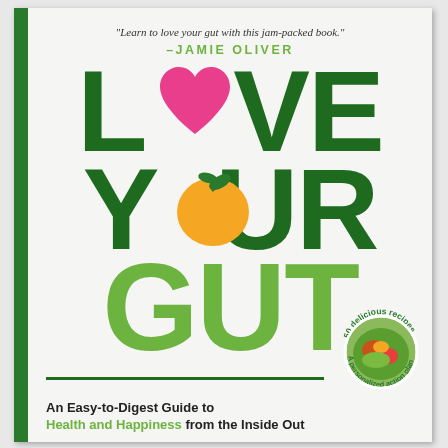"Learn to love your gut with this jam-packed book." —JAMIE OLIVER
Love Your Gut
[Figure (illustration): Pink heart shape replacing the 'O' in LOVE, orange citrus fruit replacing the 'O' in YOUR, circular food photo badge with text '50 delicious recipes' and 'A personalized action plan']
An Easy-to-Digest Guide to Health and Happiness from the Inside Out